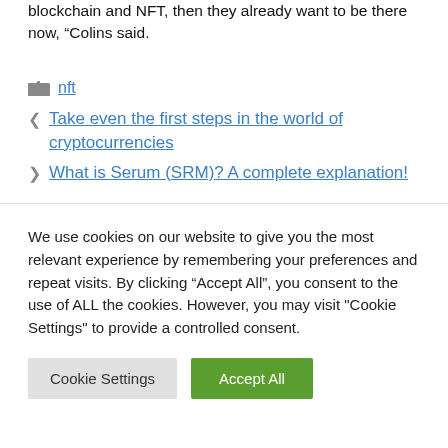blockchain and NFT, then they already want to be there now, “Colins said.
nft
Take even the first steps in the world of cryptocurrencies
What is Serum (SRM)? A complete explanation!
We use cookies on our website to give you the most relevant experience by remembering your preferences and repeat visits. By clicking “Accept All”, you consent to the use of ALL the cookies. However, you may visit "Cookie Settings" to provide a controlled consent.